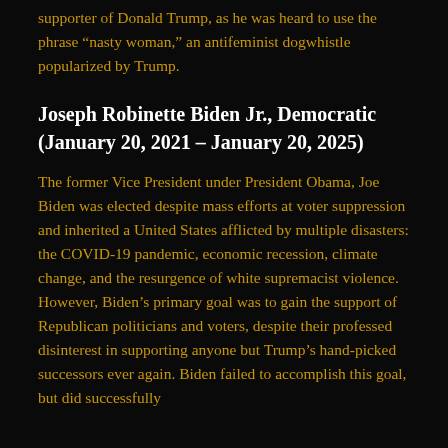supporter of Donald Trump, as he was heard to use the phrase “nasty woman,” an antifeminist dogwhistle popularized by Trump.
Joseph Robinette Biden Jr., Democratic (January 20, 2021 – January 20, 2025)
The former Vice President under President Obama, Joe Biden was elected despite mass efforts at voter suppression and inherited a United States afflicted by multiple disasters: the COVID-19 pandemic, economic recession, climate change, and the resurgence of white supremacist violence. However, Biden’s primary goal was to gain the support of Republican politicians and voters, despite their professed disinterest in supporting anyone but Trump’s hand-picked successors ever again. Biden failed to accomplish this goal, but did successfully